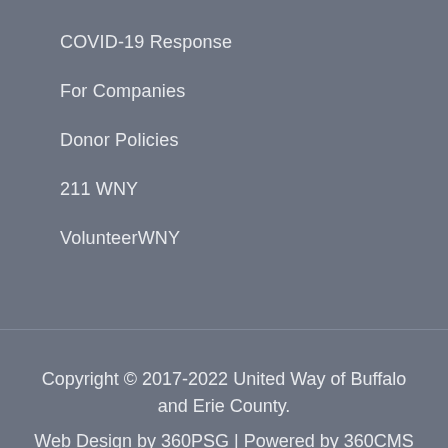COVID-19 Response
For Companies
Donor Policies
211 WNY
VolunteerWNY
Copyright © 2017-2022 United Way of Buffalo and Erie County.
Web Design by 360PSG | Powered by 360CMS